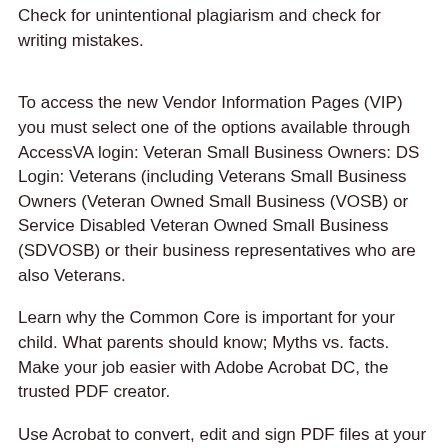Check for unintentional plagiarism and check for writing mistakes.
To access the new Vendor Information Pages (VIP) you must select one of the options available through AccessVA login: Veteran Small Business Owners: DS Login: Veterans (including Veterans Small Business Owners (Veteran Owned Small Business (VOSB) or Service Disabled Veteran Owned Small Business (SDVOSB) or their business representatives who are also Veterans.
Learn why the Common Core is important for your child. What parents should know; Myths vs. facts. Make your job easier with Adobe Acrobat DC, the trusted PDF creator.
Use Acrobat to convert, edit and sign PDF files at your desk or on the go.